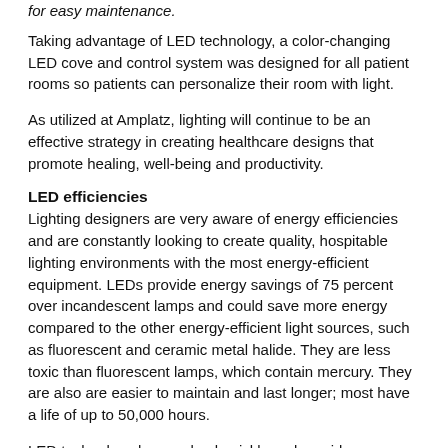for easy maintenance.
Taking advantage of LED technology, a color-changing LED cove and control system was designed for all patient rooms so patients can personalize their room with light.
As utilized at Amplatz, lighting will continue to be an effective strategy in creating healthcare designs that promote healing, well-being and productivity.
LED efficiencies
Lighting designers are very aware of energy efficiencies and are constantly looking to create quality, hospitable lighting environments with the most energy-efficient equipment. LEDs provide energy savings of 75 percent over incandescent lamps and could save more energy compared to the other energy-efficient light sources, such as fluorescent and ceramic metal halide. They are less toxic than fluorescent lamps, which contain mercury. They are also are easier to maintain and last longer; most have a life of up to 50,000 hours.
LED technology has evolved quickly and provides tremendous